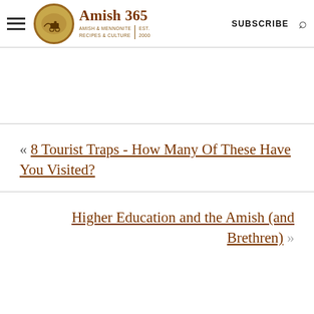Amish 365 — Amish & Mennonite Recipes & Culture | Est. 2000 | SUBSCRIBE
« 8 Tourist Traps - How Many Of These Have You Visited?
Higher Education and the Amish (and Brethren) »